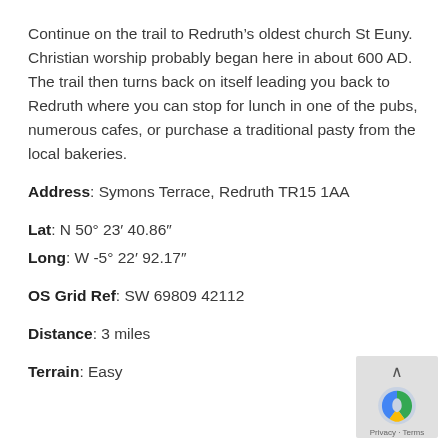Continue on the trail to Redruth’s oldest church St Euny. Christian worship probably began here in about 600 AD. The trail then turns back on itself leading you back to Redruth where you can stop for lunch in one of the pubs, numerous cafes, or purchase a traditional pasty from the local bakeries.
Address: Symons Terrace, Redruth TR15 1AA
Lat: N 50° 23’ 40.86”
Long: W -5° 22’ 92.17”
OS Grid Ref: SW 69809 42112
Distance: 3 miles
Terrain: Easy